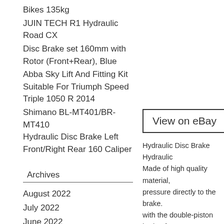Bikes 135kg
JUIN TECH R1 Hydraulic Road CX
Disc Brake set 160mm with Rotor (Front+Rear), Blue
Abba Sky Lift And Fitting Kit Suitable For Triumph Speed Triple 1050 R 2014
Shimano BL-MT401/BR-MT410 Hydraulic Disc Brake Left Front/Right Rear 160 Caliper
Archives
August 2022
July 2022
June 2022
May 2022
April 2022
View on eBay
Hydraulic Disc Brake Hydraulic Made of high quality material, pressure directly to the brake. with the double-piston brake, f 150%. Steep slope, cross-cour Reduce maintenance times an on the surface, anti-slip and w (As Picture Show). Suits a